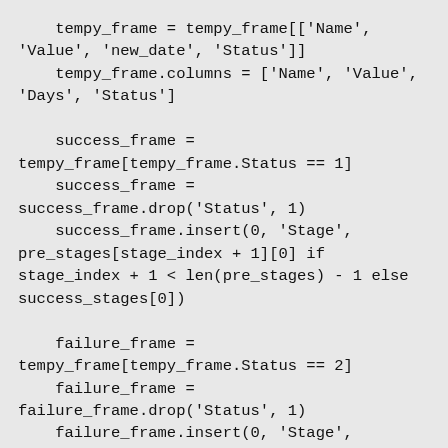tempy_frame = tempy_frame[['Name', 'Value', 'new_date', 'Status']]
    tempy_frame.columns = ['Name', 'Value', 'Days', 'Status']

    success_frame = tempy_frame[tempy_frame.Status == 1]
    success_frame = success_frame.drop('Status', 1)
    success_frame.insert(0, 'Stage', pre_stages[stage_index + 1][0] if stage_index + 1 < len(pre_stages) - 1 else success_stages[0])

    failure_frame = tempy_frame[tempy_frame.Status == 2]
    failure_frame = failure_frame.drop('Status', 1)
    failure_frame.insert(0, 'Stage', closed_stages[1])

    sales_data_frame = sales_data_frame.append(success_frame).appen